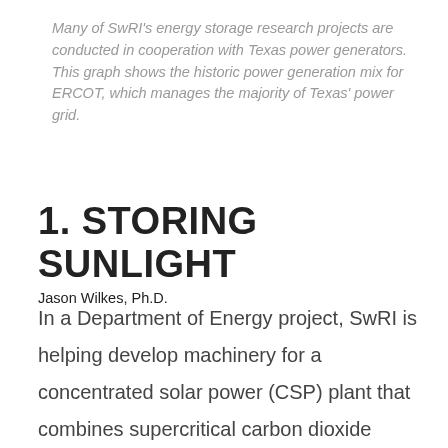Many of SwRI's energy storage research projects are conducted in cooperation with Texas power generators. This graph shows the historic power generation mix for ERCOT, which manages the majority of Texas' power grid.
1. STORING SUNLIGHT
Jason Wilkes, Ph.D.
In a Department of Energy project, SwRI is helping develop machinery for a concentrated solar power (CSP) plant that combines supercritical carbon dioxide (sCO₂) power cycles with integrated thermal energy